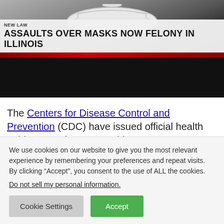[Figure (screenshot): TV news screenshot showing a white N95 mask on a dark background with a news ticker overlay reading 'NEW LAW' and headline 'ASSAULTS OVER MASKS NOW FELONY IN ILLINOIS']
The Centers for Disease Control and Prevention (CDC) have issued official health guidance urging U.S. residents
We use cookies on our website to give you the most relevant experience by remembering your preferences and repeat visits. By clicking “Accept”, you consent to the use of ALL the cookies.
Do not sell my personal information.
Cookie Settings | Accept